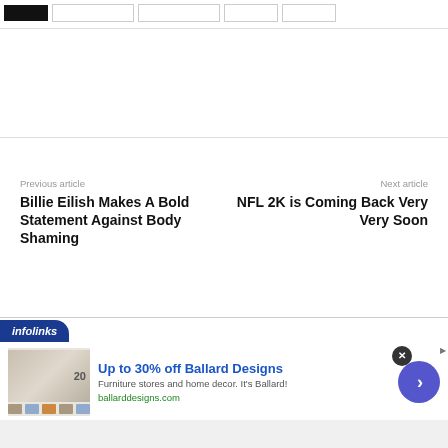[Figure (screenshot): Navigation bar with black box and tab placeholders]
Previous article
Next article
Billie Eilish Makes A Bold Statement Against Body Shaming
NFL 2K is Coming Back Very Very Soon
[Figure (infographic): Infolinks advertisement banner for Ballard Designs: 'Up to 30% off Ballard Designs', 'Furniture stores and home decor. It's Ballard!', 'ballarddesigns.com']